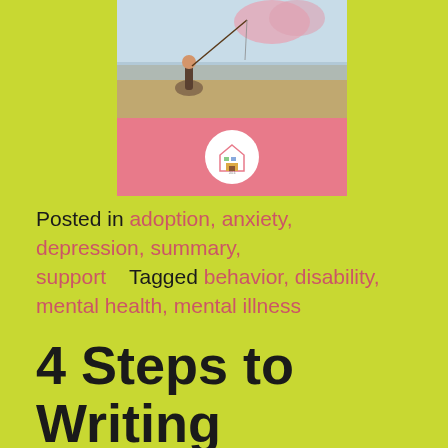[Figure (photo): A blog post card image showing a girl fishing by water at top, with a pink background below containing a circular white logo with a house icon]
Posted in adoption, anxiety, depression, summary, support   Tagged behavior, disability, mental health, mental illness
4 Steps to Writing Fail-Proof Behavior Goals for